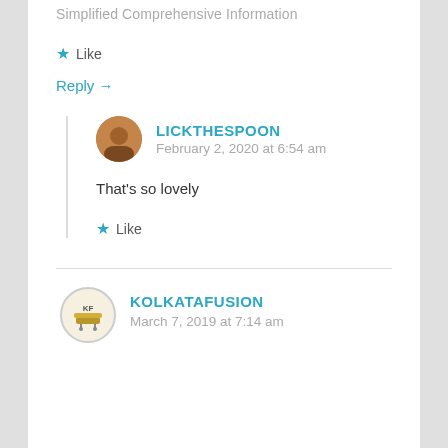Simplified Comprehensive Information
★ Like
Reply →
LICKTHESPOON
February 2, 2020 at 6:54 am
That's so lovely
★ Like
KOLKATAFUSION
March 7, 2019 at 7:14 am